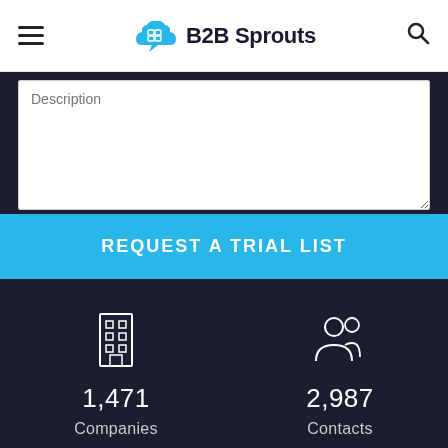B2B Sprouts
Description
REQUEST A TRIAL LIST
1,471 Companies
2,987 Contacts